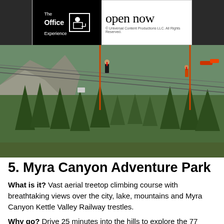[Figure (logo): The Office Experience advertisement banner with logo on black background and 'open now' text. Copyright Universal Content Productions LLC.]
[Figure (photo): Aerial photo of people zip-lining or on a treetop climbing course over a forested canyon with mountains in the background.]
5. Myra Canyon Adventure Park
What is it? Vast aerial treetop climbing course with breathtaking views over the city, lake, mountains and Myra Canyon Kettle Valley Railway trestles.
Why go? Drive 25 minutes into the hills to explore the 77 different climbing elements, with self-guided ziplines through the trees, where you can swing safely. Take a